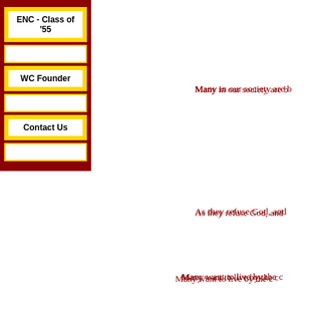ENC - Class of '55
WC Founder
Contact Us
Many in our society are b
As they refuse God, and
Many want to live by the c
As they turn to worship